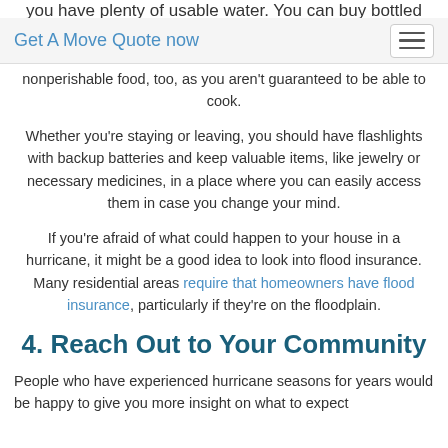you have plenty of usable water. You can buy bottled water
Get A Move Quote now
nonperishable food, too, as you aren't guaranteed to be able to cook.
Whether you're staying or leaving, you should have flashlights with backup batteries and keep valuable items, like jewelry or necessary medicines, in a place where you can easily access them in case you change your mind.
If you're afraid of what could happen to your house in a hurricane, it might be a good idea to look into flood insurance. Many residential areas require that homeowners have flood insurance, particularly if they're on the floodplain.
4. Reach Out to Your Community
People who have experienced hurricane seasons for years would be happy to give you more insight on what to expect